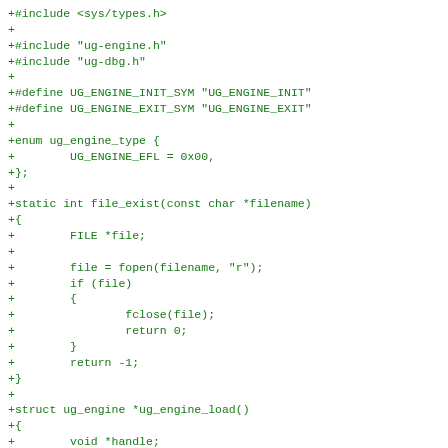+#include <sys/types.h>
+
+#include "ug-engine.h"
+#include "ug-dbg.h"
+
+#define UG_ENGINE_INIT_SYM "UG_ENGINE_INIT"
+#define UG_ENGINE_EXIT_SYM "UG_ENGINE_EXIT"
+
+enum ug_engine_type {
+        UG_ENGINE_EFL = 0x00,
+};
+
+static int file_exist(const char *filename)
+{
+        FILE *file;
+
+        file = fopen(filename, "r");
+        if (file)
+        {
+                fclose(file);
+                return 0;
+        }
+        return -1;
+}
+
+struct ug_engine *ug_engine_load()
+{
+        void *handle;
+        struct ug_engine *engine;
+        char engine_file[PATH_MAX];